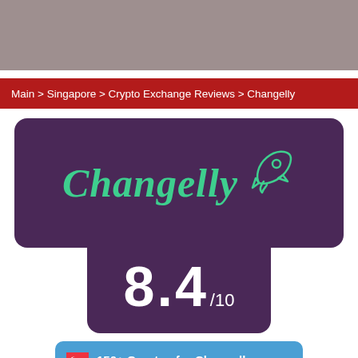Main > Singapore > Crypto Exchange Reviews > Changelly
[Figure (logo): Changelly logo with rocket icon on dark purple background, showing brand name in green cursive script]
8.4/10
150+ Cryptos for Changelly